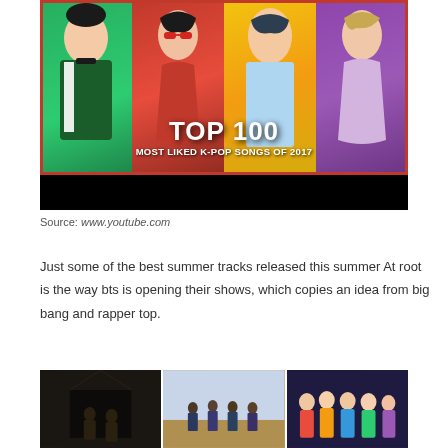[Figure (photo): Collage of K-pop artists with text overlay reading 'TOP 100 MOST LIKED K-POP SONGS OF 2017'. Four panels showing different artists on green, red, yellow, and purple backgrounds.]
Source: www.youtube.com
Just some of the best summer tracks released this summer At root is the way bts is opening their shows, which copies an idea from big bang and rapper top.
[Figure (photo): Three side-by-side video thumbnails showing K-pop music video scenes: dark corridor scene, group walking outdoors, and group of girls posing.]